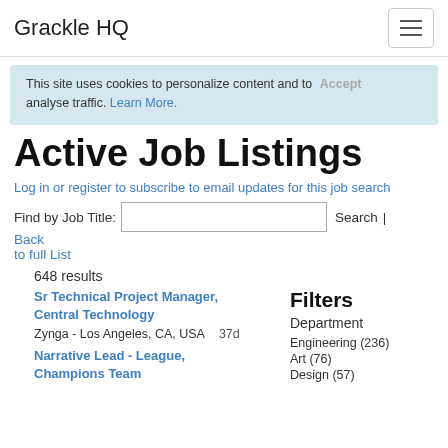Grackle HQ
This site uses cookies to personalize content and to analyse traffic. Learn More.
Active Job Listings
Log in or register to subscribe to email updates for this job search
Find by Job Title: [input] Search | Back to full List
648 results
Sr Technical Project Manager, Central Technology
Zynga - Los Angeles, CA, USA
37d
Filters
Department
Engineering (236)
Art (76)
Design (57)
Narrative Lead - League, Champions Team